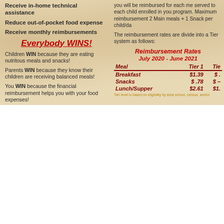Receive in-home technical assistance
Reduce out-of-pocket food expense
Receive monthly reimbursements
Everybody WINS!
Children WIN because they are eating nutritous meals and snacks!
Parents WIN because they know their children are receiving balanced meals!
You WIN because the financial reimbursement helps you with your food expenses!
you will be reimbursed for each me served to each child enrolled in you program. Maximum reimbursement 2 Main meals + 1 Snack per child/da
The reimbursement rates are divide into a Tier system as follows:
| Meal | Tier 1 | Tie |
| --- | --- | --- |
| Breakfast | $1.39 | $  . |
| Snacks | $ .78 | $ – |
| Lunch/Supper | $2.61 | $1. |
Tier level is based on eligibility by area school, census, and/or